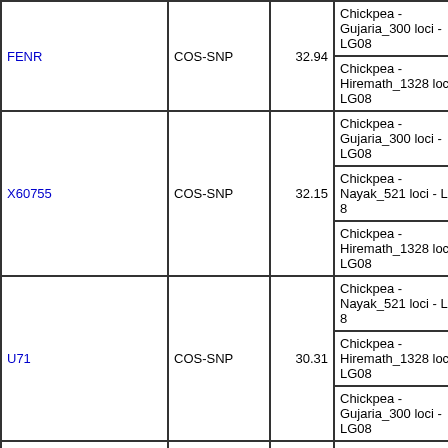| Name | Type | Position | Map | Link |
| --- | --- | --- | --- | --- |
| FENR | COS-SNP | 32.94 | Chickpea - Gujaria_300 loci - LG08 | FR... |
| FENR | COS-SNP | 32.94 | Chickpea - Hiremath_1328 loci - LG08 | FR... |
| X60755 | COS-SNP | 32.15 | Chickpea - Gujaria_300 loci - LG08 | X6... |
| X60755 | COS-SNP | 32.15 | Chickpea - Nayak_521 loci - LG 8 | X6... |
| X60755 | COS-SNP | 32.15 | Chickpea - Hiremath_1328 loci - LG08 | X6... |
| U71 | COS-SNP | 30.31 | Chickpea - Nayak_521 loci - LG 8 | U7... |
| U71 | COS-SNP | 30.31 | Chickpea - Hiremath_1328 loci - LG08 | U7... |
| U71 | COS-SNP | 30.31 | Chickpea - Gujaria_300 loci - LG08 | U7... |
| CaM0787 | BES-SSR | 28.90 | Chickpea - 1147 Transcript map(Seq-clone) - LG08 | Ca... |